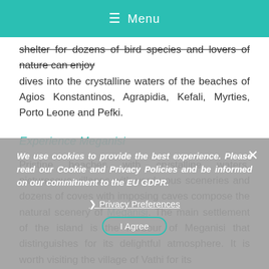≡ Menu
shelter for dozens of bird species and lovers of nature can enjoy dives into the crystalline waters of the beaches of Agios Konstantinos, Agrapidia, Kefali, Myrties, Porto Leone and Pefki.
Experience Meganisi
Pristine beaches with crystalline waters, picturesque villages with verdurous sceneries and dozens of coves with imposing caves compose the natural scenery of Meganisi. The main settlement of the island is the harbour of Meganisi that distinguishes for its delightful atmosphere. It is worth visiting the village of Vathi for its
We use cookies to provide the best experience. Please read our Cookie and Privacy Policies and be informed on our commitment to the EU GDPR.

❯ Privacy Preferences

I Agree